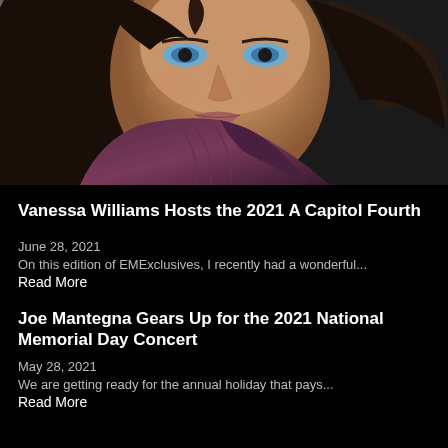[Figure (photo): Close-up portrait of Vanessa Williams, a woman with brown wavy hair, blue eyes, wearing a dark purple/plum draped top, photographed against a light and dark background.]
Vanessa Williams Hosts the 2021 A Capitol Fourth
June 28, 2021
On this edition of EMExclusives, I recently had a wonderful...
Read More
Joe Mantegna Gears Up for the 2021 National Memorial Day Concert
May 28, 2021
We are getting ready for the annual holiday that pays...
Read More